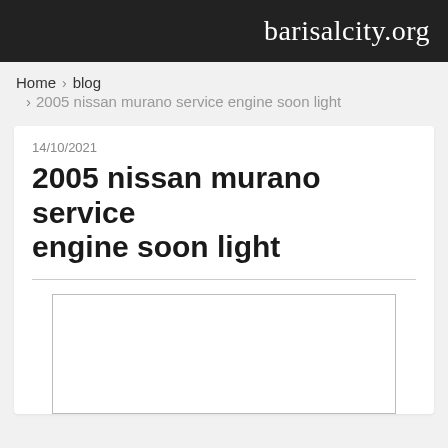barisalcity.org
Home › blog › 2005 nissan murano service engine soon light
14/10/2021
2005 nissan murano service engine soon light
[Figure (other): Empty white image placeholder with grey border]